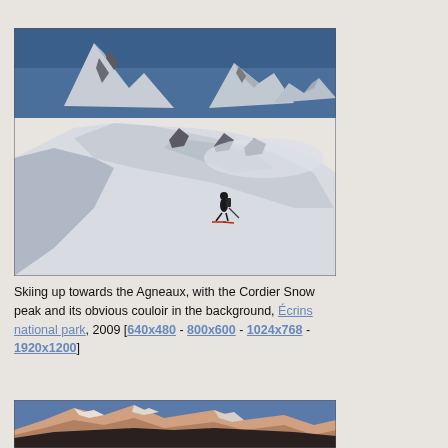[Figure (photo): A skier ascending a snowy mountain slope with dramatic snow-covered peaks and rocky outcrops in the background under a blue sky. The scene is in Écrins national park, 2009.]
Skiing up towards the Agneaux, with the Cordier Snow peak and its obvious couloir in the background, Écrins national park, 2009 [640x480 - 800x600 - 1024x768 - 1920x1200]
[Figure (photo): Partial view of mountain peaks with alpenglow or sunset light, in Écrins national park area.]